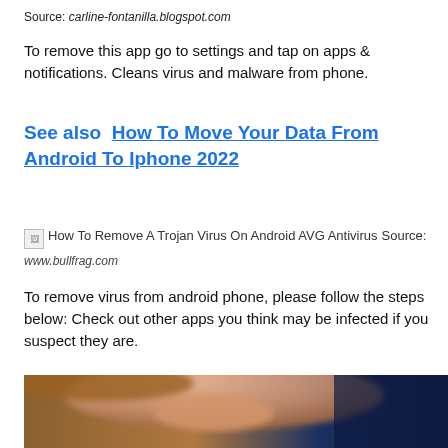Source: carline-fontanilla.blogspot.com
To remove this app go to settings and tap on apps & notifications. Cleans virus and malware from phone.
See also  How To Move Your Data From Android To Iphone 2022
[Figure (photo): Broken image placeholder showing 'How To Remove A Trojan Virus On Android AVG Antivirus' with source: www.bullfrag.com]
To remove virus from android phone, please follow the steps below: Check out other apps you think may be infected if you suspect they are.
[Figure (photo): Partial photo of a person's lower face and chin, blurred, with a dark blue background. Bottom of page.]